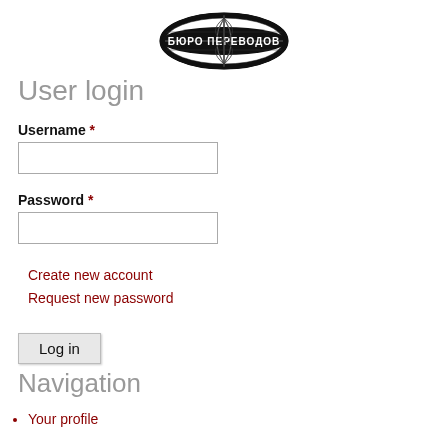[Figure (logo): Oval logo with globe/crosshair design and Cyrillic text БЮРО ПЕРЕВОДОВ (Translation Bureau)]
User login
Username *
Password *
Create new account
Request new password
Log in
Navigation
Your profile